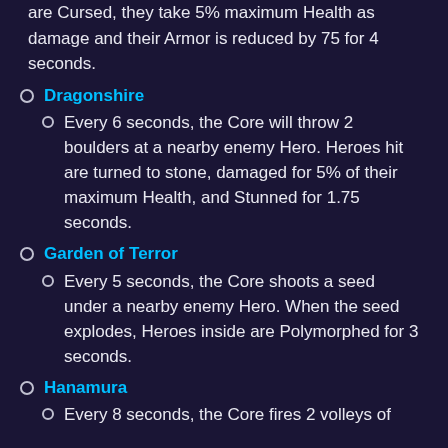are Cursed, they take 5% maximum Health as damage and their Armor is reduced by 75 for 4 seconds.
Dragonshire
Every 6 seconds, the Core will throw 2 boulders at a nearby enemy Hero. Heroes hit are turned to stone, damaged for 5% of their maximum Health, and Stunned for 1.75 seconds.
Garden of Terror
Every 5 seconds, the Core shoots a seed under a nearby enemy Hero. When the seed explodes, Heroes inside are Polymorphed for 3 seconds.
Hanamura
Every 8 seconds, the Core fires 2 volleys of